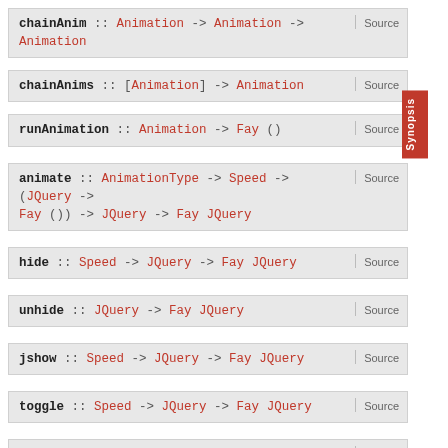chainAnim :: Animation -> Animation -> Animation | Source
chainAnims :: [Animation] -> Animation | Source
runAnimation :: Animation -> Fay () | Source
animate :: AnimationType -> Speed -> (JQuery -> Fay ()) -> JQuery -> Fay JQuery | Source
hide :: Speed -> JQuery -> Fay JQuery | Source
unhide :: JQuery -> Fay JQuery | Source
jshow :: Speed -> JQuery -> Fay JQuery | Source
toggle :: Speed -> JQuery -> Fay JQuery | Source
fadeIn :: Speed -> JQuery -> Fay JQuery | Source